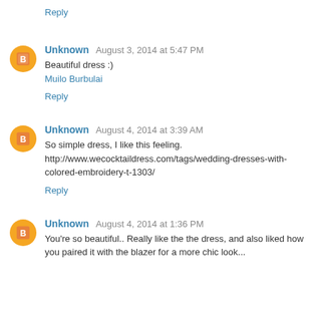Reply
Unknown August 3, 2014 at 5:47 PM
Beautiful dress :)
Muilo Burbulai
Reply
Unknown August 4, 2014 at 3:39 AM
So simple dress, I like this feeling.
http://www.wecocktaildress.com/tags/wedding-dresses-with-colored-embroidery-t-1303/
Reply
Unknown August 4, 2014 at 1:36 PM
You're so beautiful.. Really like the the dress, and also liked how you paired it with the blazer for a more chic look...